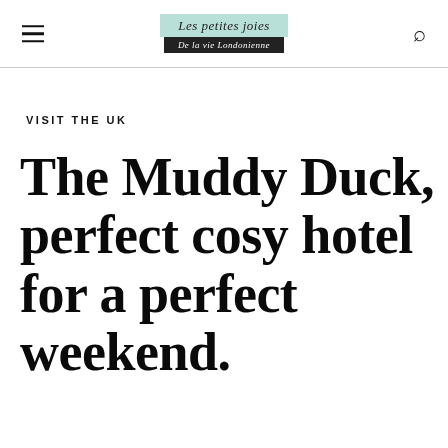Les petites joies — De la vie Londonienne
VISIT THE UK
The Muddy Duck, perfect cosy hotel for a perfect weekend.